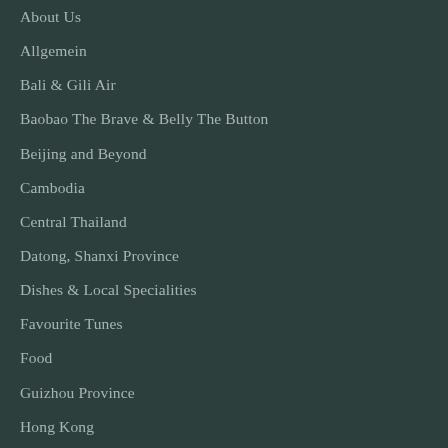About Us
Allgemein
Bali & Gili Air
Baobao The Brave & Belly The Button
Beijing and Beyond
Cambodia
Central Thailand
Datong, Shanxi Province
Dishes & Local Specialities
Favourite Tunes
Food
Guizhou Province
Hong Kong
Indonesia